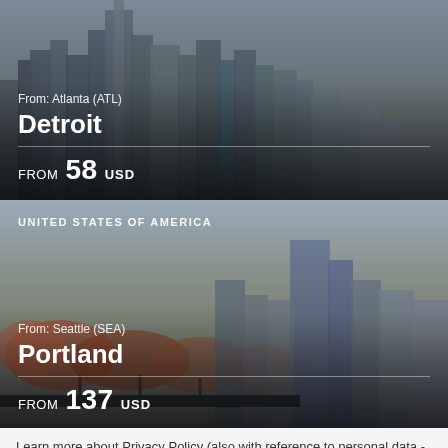[Figure (photo): Aerial city skyline photo of Detroit with skyscrapers, used as card background. Text overlay: 'From: Atlanta (ATL)', 'Detroit', 'FROM 58 USD']
[Figure (photo): City skyline photo of Portland with autumn trees and buildings, used as card background. Text overlays: 'UNITED STATES OF AMERICA', 'From: Seattle (SEA)', 'Portland', 'FROM 137 USD']
Learn more about Privacy Policy (also with reference to personal data - GDPR) - here.
Accept